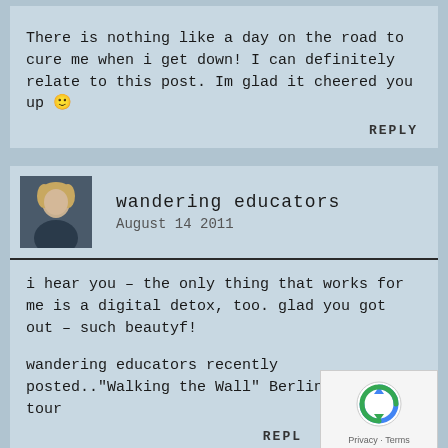There is nothing like a day on the road to cure me when i get down! I can definitely relate to this post. Im glad it cheered you up 🙂
REPLY
wandering educators
August 14 2011
i hear you – the only thing that works for me is a digital detox, too. glad you got out – such beautyf!
wandering educators recently posted.."Walking the Wall" Berlin history tour
REPLY